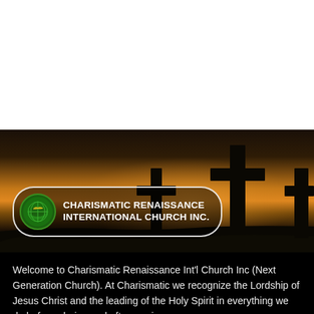[Figure (photo): Three dark silhouette crosses against a warm orange and brown sunset sky background]
CHARISMATIC RENAISSANCE INTERNATIONAL CHURCH INC.
Welcome to Charismatic Renaissance Int'l Church Inc (Next Generation Church). At Charismatic we recognize the Lordship of Jesus Christ and the leading of the Holy Spirit in everything we do before, during and after services.